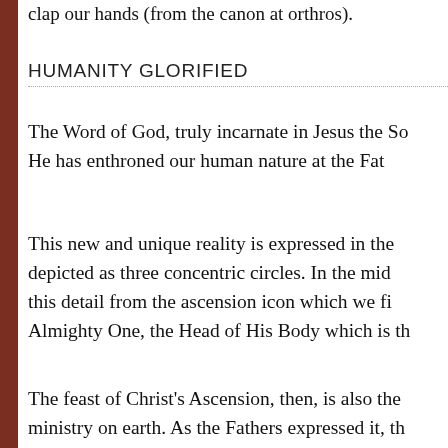clap our hands (from the canon at orthros).
HUMANITY GLORIFIED
The Word of God, truly incarnate in Jesus the So... He has enthroned our human nature at the Fat...
This new and unique reality is expressed in the... depicted as three concentric circles. In the mid... this detail from the ascension icon which we fi... Almighty One, the Head of His Body which is th...
The feast of Christ's Ascension, then, is also the... ministry on earth. As the Fathers expressed it, th...